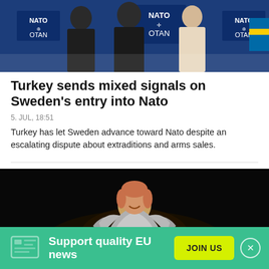[Figure (photo): People posing in front of NATO/OTAN backdrop banners at an official event]
Turkey sends mixed signals on Sweden's entry into Nato
5. JUL, 18:51
Turkey has let Sweden advance toward Nato despite an escalating dispute about extraditions and arms sales.
[Figure (photo): Woman in silver/metallic outfit performing or posing on a dark stage]
Support quality EU news
JOIN US